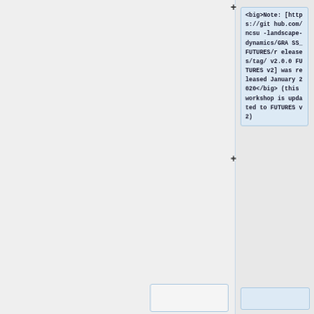<big>Note: [https://github.com/ncsu-landscape-dynamics/GRASS_FUTURES/releases/tag/v2.0.0 FUTURES v2] was released January 2020</big> (this workshop is updated to FUTURES v2)